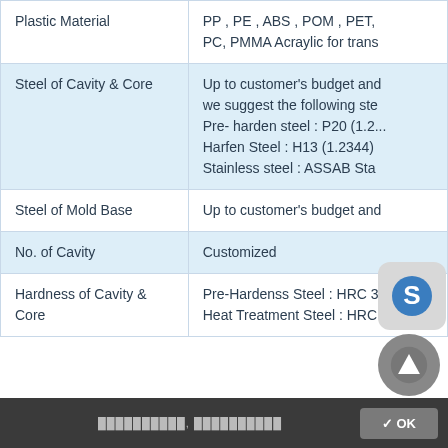| Plastic Material | PP , PE , ABS , POM , PET, PC, PMMA Acraylic for trans |
| Steel of Cavity & Core | Up to customer's budget and we suggest the following ste Pre- harden steel : P20 (1.2... Harfen Steel : H13 (1.2344) Stainless steel : ASSAB Sta |
| Steel of Mold Base | Up to customer's budget and |
| No. of Cavity | Customized |
| Hardness of Cavity & Core | Pre-Hardenss Steel : HRC 3 Heat Treatment Steel : HRC |